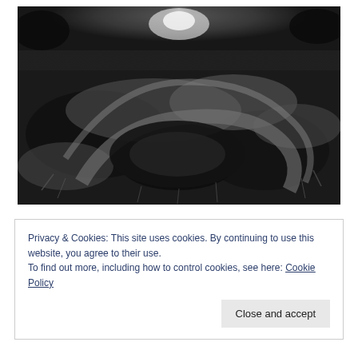[Figure (photo): Black and white aerial or ground-level photograph of a grassy field or meadow with crop circle or curved path patterns visible, with bright light visible in the upper center background.]
Privacy & Cookies: This site uses cookies. By continuing to use this website, you agree to their use.
To find out more, including how to control cookies, see here: Cookie Policy